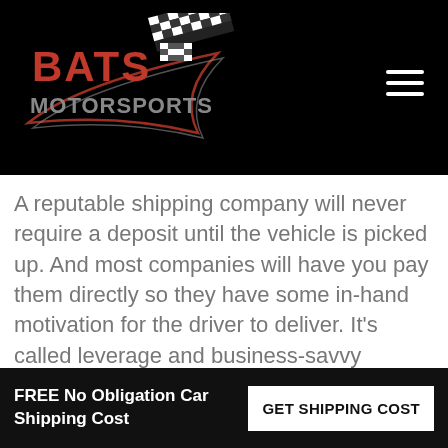[Figure (logo): Bats Motorsports logo — stylized red/silver text on black background with racing flag graphic]
A reputable shipping company will never require a deposit until the vehicle is picked up. And most companies will have you pay them directly so they have some in-hand motivation for the driver to deliver. It's called leverage and business-savvy brokers use it everyday.
That one thing right there will save thousands of people bazillions of dollars if they will pay attention to that ONE BIG RED FLAG.
FREE No Obligation Car Shipping Cost  GET SHIPPING COST